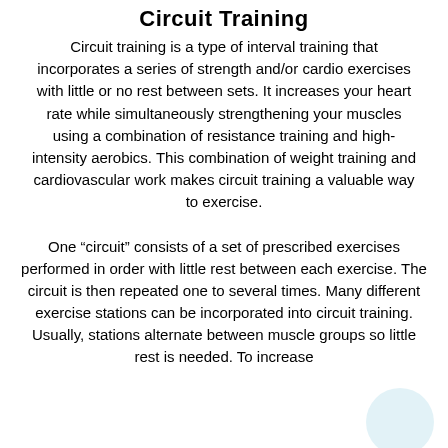Circuit Training
Circuit training is a type of interval training that incorporates a series of strength and/or cardio exercises with little or no rest between sets. It increases your heart rate while simultaneously strengthening your muscles using a combination of resistance training and high-intensity aerobics. This combination of weight training and cardiovascular work makes circuit training a valuable way to exercise.
One “circuit” consists of a set of prescribed exercises performed in order with little rest between each exercise. The circuit is then repeated one to several times. Many different exercise stations can be incorporated into circuit training. Usually, stations alternate between muscle groups so little rest is needed. To increase